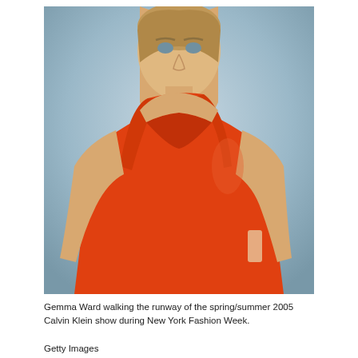[Figure (photo): A model (Gemma Ward) walking the runway wearing an orange/red sleeveless dress, photographed from the torso up with a grey-blue blurred background. Fashion runway photo from Calvin Klein spring/summer 2005 show.]
Gemma Ward walking the runway of the spring/summer 2005 Calvin Klein show during New York Fashion Week.
Getty Images